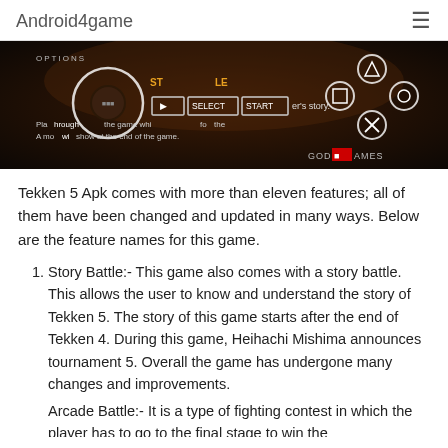Android4game
[Figure (screenshot): Screenshot of Tekken 5 game showing Story Battle mode with OPTIONS label, PlayStation controller buttons (triangle, square, circle, X), play button, SELECT and START buttons, game text overlay, and GODGAMES watermark.]
Tekken 5 Apk comes with more than eleven features; all of them have been changed and updated in many ways. Below are the feature names for this game.
Story Battle:- This game also comes with a story battle. This allows the user to know and understand the story of Tekken 5. The story of this game starts after the end of Tekken 4. During this game, Heihachi Mishima announces tournament 5. Overall the game has undergone many changes and improvements.
Arcade Battle:- It is a type of fighting contest in which the player has to go to the final stage to win the